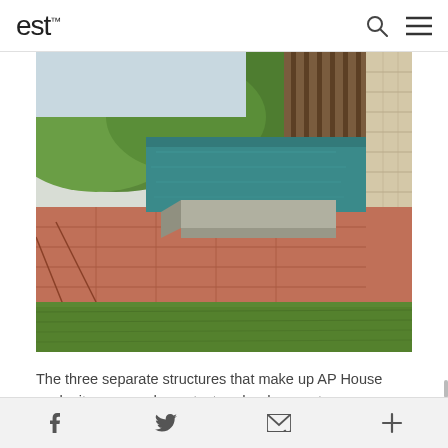est
[Figure (photo): Exterior photo of AP House showing an infinity pool with terracotta/red concrete terrace, a concrete bench element, green lawn in the foreground, rolling green hills in the background, and a building facade with vertical wood slats and stone walls on the right.]
The three separate structures that make up AP House each sit composed on a textured red concrete